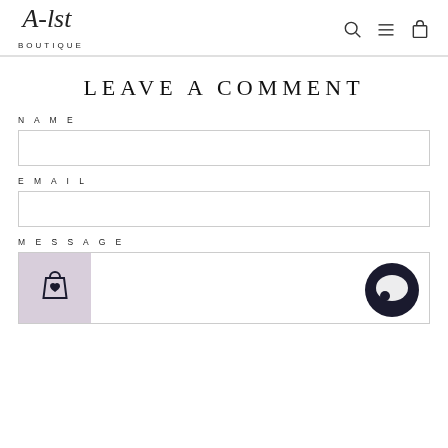A-list Boutique — navigation header with logo and icons
LEAVE A COMMENT
NAME
EMAIL
MESSAGE
[Figure (screenshot): Message textarea with wishlist bag icon overlay on left and chat bubble circle icon on right]